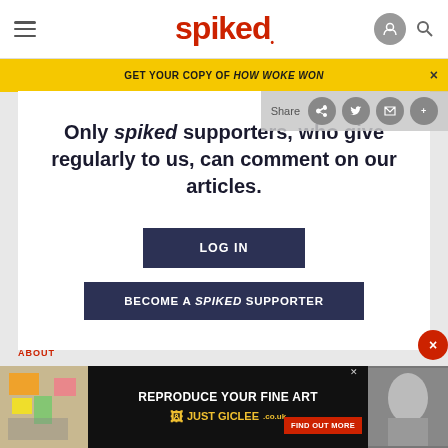spiked
GET YOUR COPY OF HOW WOKE WON
Only spiked supporters, who give regularly to us, can comment on our articles.
LOG IN
BECOME A SPIKED SUPPORTER
ABOUT
[Figure (screenshot): Advertisement banner: REPRODUCE YOUR FINE ART JUST GICLEE.co.uk with FIND OUT MORE button]